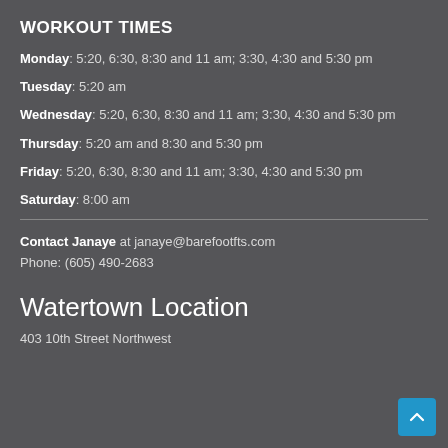WORKOUT TIMES
Monday: 5:20, 6:30, 8:30 and 11 am; 3:30, 4:30 and 5:30 pm
Tuesday: 5:20 am
Wednesday: 5:20, 6:30, 8:30 and 11 am; 3:30, 4:30 and 5:30 pm
Thursday: 5:20 am and 8:30 and 5:30 pm
Friday: 5:20, 6:30, 8:30 and 11 am; 3:30, 4:30 and 5:30 pm
Saturday: 8:00 am
Contact Janaye at janaye@barefootfts.com
Phone: (605) 490-2683
Watertown Location
403 10th Street Northwest